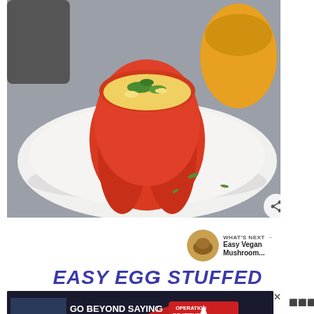[Figure (photo): A red bell pepper stuffed with egg and vegetables, served on a white plate with fresh herb garnish. A yellow stuffed pepper is visible in the background.]
[Figure (photo): What's Next thumbnail showing a mushroom dish]
WHAT'S NEXT → Easy Vegan Mushroom...
EASY EGG STUFFED
[Figure (photo): Advertisement banner: GO BEYOND SAYING THANK YOU — Operation Gratitude JOIN US]